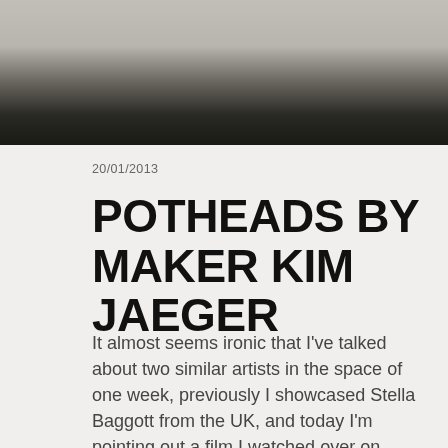[Figure (photo): Top portion of a photograph showing a shelf or table edge against a dark background, appearing to be a ceramic or studio workspace]
20/01/2013
POTHEADS BY MAKER KIM JAEGER
It almost seems ironic that I've talked about two similar artists in the space of one week, previously I showcased Stella Baggott from the UK, and today I'm pointing out a film I watched over on vimeo about ceramic artist Kim Jaeger by Historia Films. Kim's been one of my favourites at Mr Kitl